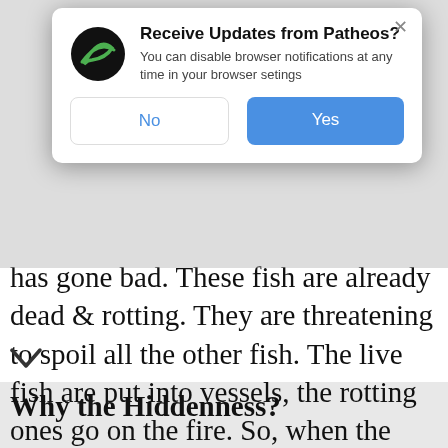[Figure (screenshot): Browser notification dialog asking 'Receive Updates from Patheos?' with No and Yes buttons, overlaid on article content]
has gone bad. These fish are already dead & rotting. They are threatening to spoil all the other fish. The live fish are put into vessels, the rotting ones go on the fire. So, when the kingdom comes, God will protect the things that are living, from the things that are dead & threatening to kill us all.
Why the Hiddenness?